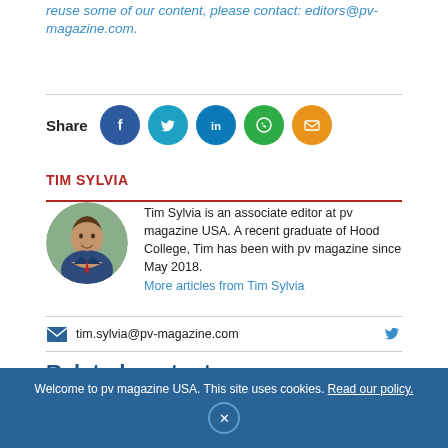reuse some of our content, please contact: editors@pv-magazine.com.
Share
TIM SYLVIA
Tim Sylvia is an associate editor at pv magazine USA. A recent graduate of Hood College, Tim has been with pv magazine since May 2018. More articles from Tim Sylvia
tim.sylvia@pv-magazine.com
Related content
[Figure (photo): Two related content thumbnail images at bottom]
Welcome to pv magazine USA. This site uses cookies. Read our policy.